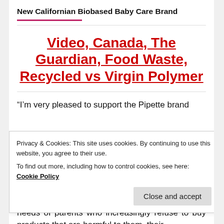New Californian Biobased Baby Care Brand
Video, Canada, The Guardian, Food Waste, Recycled vs Virgin Polymer
“I’m very pleased to support the Pipette brand
Privacy & Cookies: This site uses cookies. By continuing to use this website, you agree to their use.
To find out more, including how to control cookies, see here: Cookie Policy
Close and accept
Huntington-Whiteley.  Pipette is responding to the needs of parents who increasingly refuse to buy products that are harmful to them, their